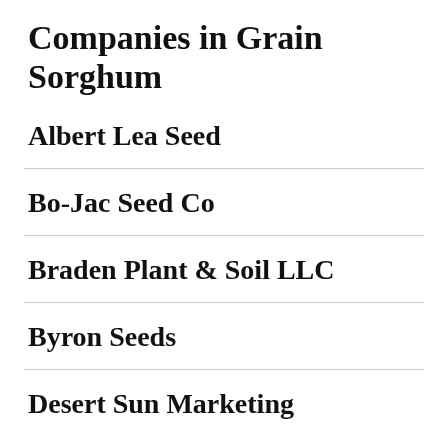Companies in Grain Sorghum
Albert Lea Seed
Bo-Jac Seed Co
Braden Plant & Soil LLC
Byron Seeds
Desert Sun Marketing